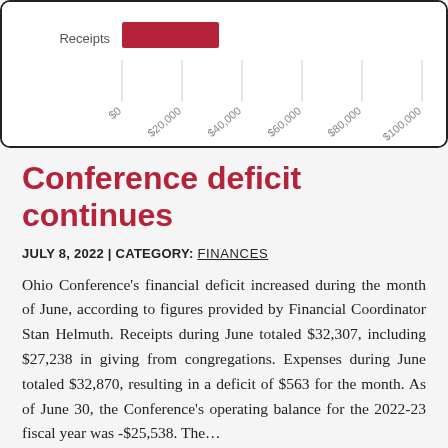[Figure (bar-chart): Receipts]
Conference deficit continues
JULY 8, 2022 | CATEGORY: FINANCES
Ohio Conference's financial deficit increased during the month of June, according to figures provided by Financial Coordinator Stan Helmuth. Receipts during June totaled $32,307, including $27,238 in giving from congregations. Expenses during June totaled $32,870, resulting in a deficit of $563 for the month. As of June 30, the Conference's operating balance for the 2022-23 fiscal year was -$25,538. The…